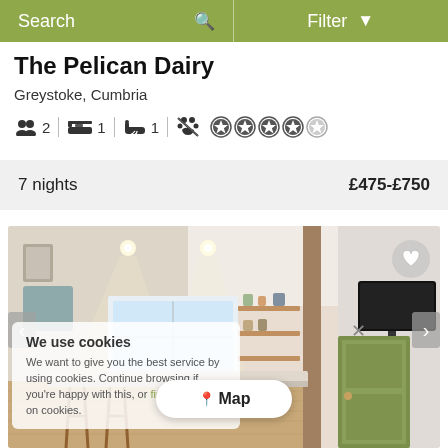Search   Filter
The Pelican Dairy
Greystoke, Cumbria
2 guests | 1 bedroom | 1 bathroom | no pets | 4 star rating
7 nights   £475-£750
[Figure (photo): Interior photo of The Pelican Dairy cottage showing a bright kitchen/living area with wooden stools, shelving, recessed lighting, and a glimpse of a green door and TV area through a dividing wall.]
We use cookies
We want to give you the best service by using cookies. Continue browsing if you're happy with this, or find out more on cookies.
Map